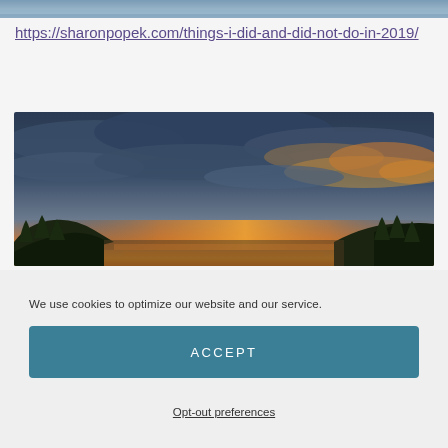[Figure (photo): Top strip of a photo, appears to be a coastal or ocean scene, cropped to a thin strip at top of page]
https://sharonpopek.com/things-i-did-and-did-not-do-in-2019/
[Figure (photo): Panoramic sunset landscape with dramatic cloudy sky in blue and orange tones, silhouettes of trees and hills on the sides, sky reflected with warm golden light on the horizon]
We use cookies to optimize our website and our service.
ACCEPT
Opt-out preferences